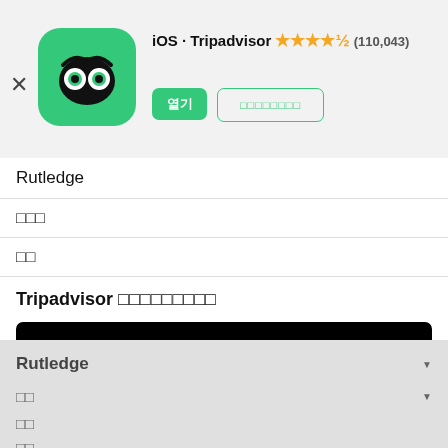iOS Tripadvisor ★★★★½ (110,043)
Rutledge
□□□
□□
Tripadvisor □□□□□□□□□
□□□□
Rutledge
□□
□□
□□